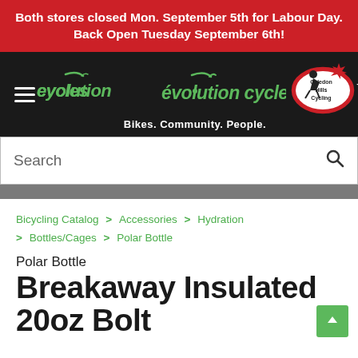Both stores closed Mon. September 5th for Labour Day. Back Open Tuesday September 6th!
[Figure (logo): Evolution Cycles and Caledon Hills Cycling logos with tagline 'Bikes. Community. People.']
Search
Bicycling Catalog > Accessories > Hydration > Bottles/Cages > Polar Bottle
Polar Bottle Breakaway Insulated 20oz Bolt